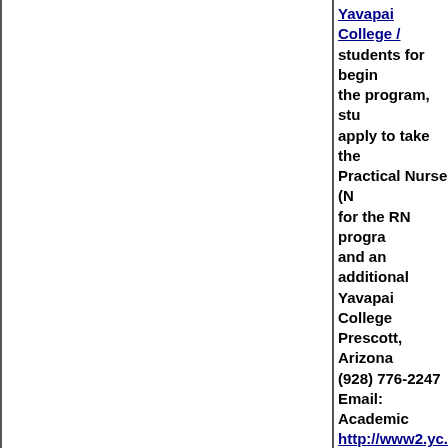Yavapai College / students for begin the program, stu apply to take the Practical Nurse (N for the RN progra and an additional Yavapai College Prescott, Arizona (928) 776-2247 Email: Academic http://www2.yc.e
York College of C exclusively for Re program will prep with a focus on th York College of C 94-20 Guy Brewe Jamaica, NY 1145 Phone: (718) 262- E-mail: james_r@ http://york.cuny.e